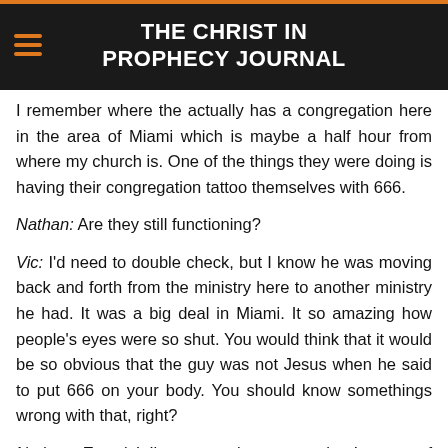THE CHRIST IN PROPHECY JOURNAL
I remember where the actually has a congregation here in the area of Miami which is maybe a half hour from where my church is. One of the things they were doing is having their congregation tattoo themselves with 666.
Nathan: Are they still functioning?
Vic: I'd need to double check, but I know he was moving back and forth from the ministry here to another ministry he had. It was a big deal in Miami. It so amazing how people's eyes were so shut. You would think that it would be so obvious that the guy was not Jesus when he said to put 666 on your body. You should know somethings wrong with that, right?
Nathan: Exactly! I've seen pictures on the Internet of teenage girls proudly showing off their wrists with 666